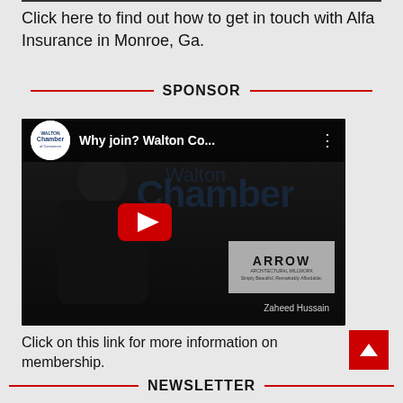Click here to find out how to get in touch with Alfa Insurance in Monroe, Ga.
SPONSOR
[Figure (screenshot): YouTube video thumbnail showing 'Why join? Walton Co...' with Walton Chamber logo, a play button, a person silhouette, and an Arrow company logo overlay. Zaheed Hussain is named at the bottom.]
Click on this link for more information on membership.
NEWSLETTER